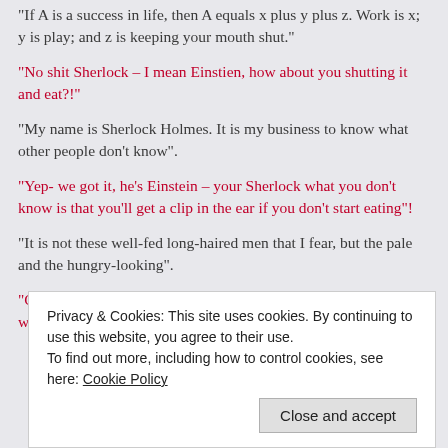“If A is a success in life, then A equals x plus y plus z. Work is x; y is play; and z is keeping your mouth shut.”
“No shit Sherlock – I mean Einstien, how about you shutting it and eat?!”
“My name is Sherlock Holmes. It is my business to know what other people don’t know”.
“Yep- we got it, he’s Einstein – your Sherlock what you don’t know is that you’ll get a clip in the ear if you don’t start eating”!
“It is not these well-fed long-haired men that I fear, but the pale and the hungry-looking”.
“Give me strength they wouldn’t be hungry looking Julias if they would start e...
Privacy & Cookies: This site uses cookies. By continuing to use this website, you agree to their use.
To find out more, including how to control cookies, see here: Cookie Policy